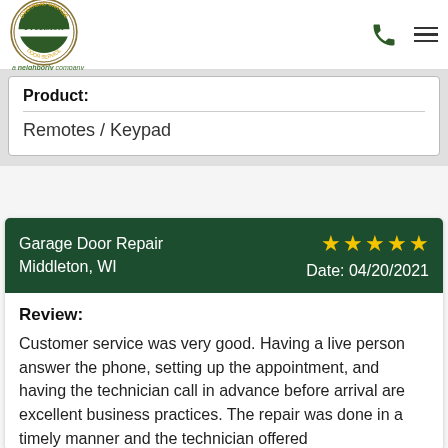[Figure (logo): Precision Overhead Garage Door Service logo - circular seal with green and gold colors, 'a neighborly company' tagline below]
Product: Remotes / Keypad
Garage Door Repair Middleton, WI ★★★★★ Date: 04/20/2021
Review: Customer service was very good. Having a live person answer the phone, setting up the appointment, and having the technician call in advance before arrival are excellent business practices. The repair was done in a timely manner and the technician offered